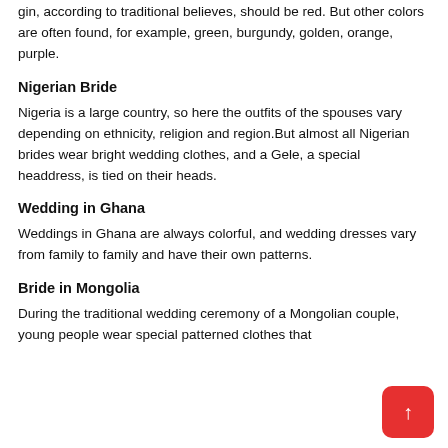gin, according to traditional believes, should be red. But other colors are often found, for example, green, burgundy, golden, orange, purple.
Nigerian Bride
Nigeria is a large country, so here the outfits of the spouses vary depending on ethnicity, religion and region.But almost all Nigerian brides wear bright wedding clothes, and a Gele, a special headdress, is tied on their heads.
Wedding in Ghana
Weddings in Ghana are always colorful, and wedding dresses vary from family to family and have their own patterns.
Bride in Mongolia
During the traditional wedding ceremony of a Mongolian couple, young people wear special patterned clothes that